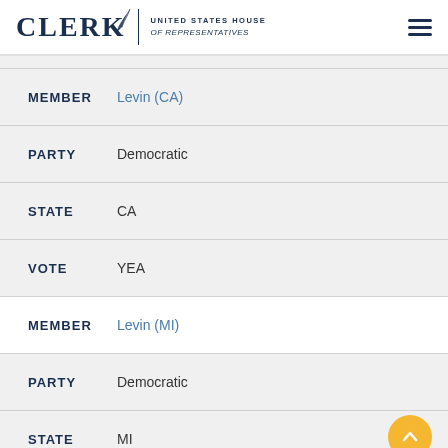CLERK United States House of Representatives
MEMBER Levin (CA)
PARTY Democratic
STATE CA
VOTE YEA
MEMBER Levin (MI)
PARTY Democratic
STATE MI